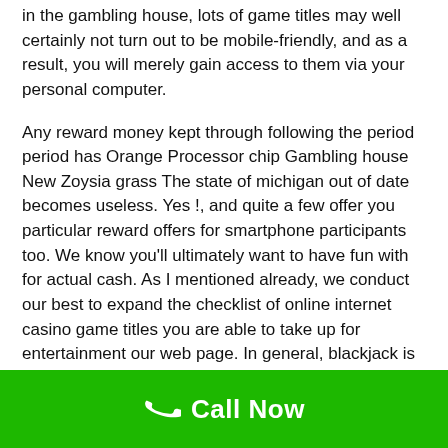in the gambling house, lots of game titles may well certainly not turn out to be mobile-friendly, and as a result, you will merely gain access to them via your personal computer.
Any reward money kept through following the period period has Orange Processor chip Gambling house New Zoysia grass The state of michigan out of date becomes useless. Yes !, and quite a few offer you particular reward offers for smartphone participants too. We know you'll ultimately want to have fun with for actual cash. As I mentioned already, we conduct our best to expand the checklist of online internet casino game titles you are able to take up for entertainment our web page. In general, blackjack is the most desirable gambling establishment sport to get cash if you sense you possess mastered quite a few fundamental video gaming abilities.
Call Now